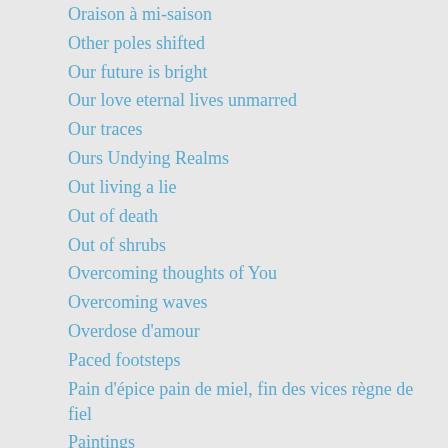Oraison à mi-saison
Other poles shifted
Our future is bright
Our love eternal lives unmarred
Our traces
Ours Undying Realms
Out living a lie
Out of death
Out of shrubs
Overcoming thoughts of You
Overcoming waves
Overdose d'amour
Paced footsteps
Pain d'épice pain de miel, fin des vices règne de fiel
Paintings
Pair me not
Par loi pare foi
Paris Versailles
Particles to keep
Partir c'est vivre un peu
Pas Lolita